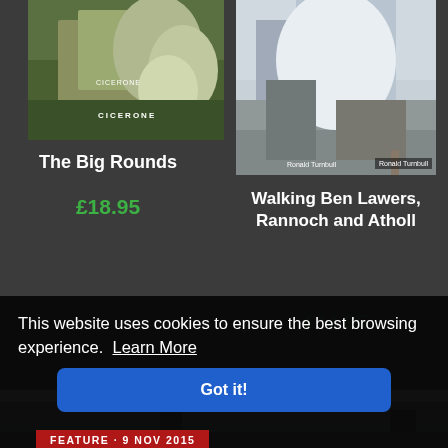[Figure (photo): Book cover for 'The Big Rounds' by Cicerone — rocky landscape with green grass and large grey boulders]
The Big Rounds
£18.95
[Figure (photo): Book cover for 'Walking Ben Lawers, Rannoch and Atholl' by Ronald Turnbull — snowy rocky mountain scene]
Walking Ben Lawers, Rannoch and Atholl
£14.95
[Figure (photo): Landscape photo of a Scottish building with chimneys against a cloudy sky with green hills]
This website uses cookies to ensure the best browsing experience.  Learn More
Got it!
FEATURE · 9 NOV 2015